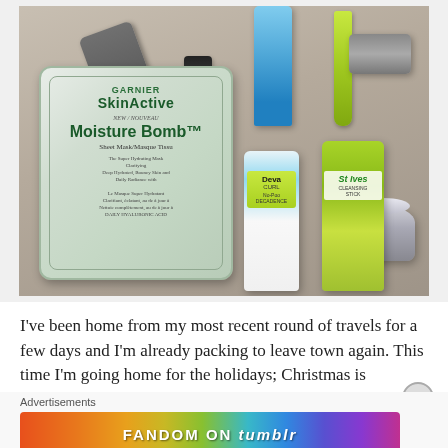[Figure (photo): Flatlay photo of beauty/skincare products on a beige surface including a Garnier SkinActive Moisture Bomb sheet mask, a grey tube, a small dropper bottle, a blue tube, a green pen/razor tool, two grey tubs/compacts, a DevaCurl bottle, and a St. Ives Cleansing Stick bottle.]
I've been home from my most recent round of travels for a few days and I'm already packing to leave town again. This time I'm going home for the holidays; Christmas is
Advertisements
[Figure (infographic): Colorful rainbow-gradient advertisement banner reading 'FANDOM ON tumblr' with decorative musical notes and hearts pattern.]